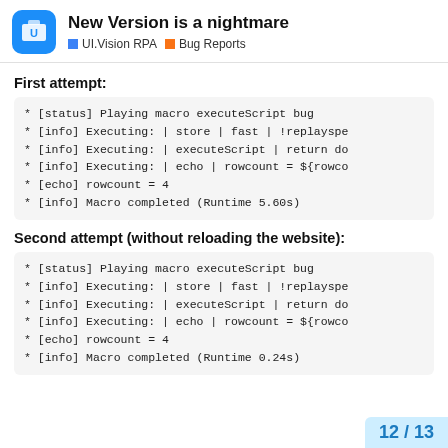New Version is a nightmare — UI.Vision RPA | Bug Reports
First attempt:
* [status] Playing macro executeScript bug
* [info] Executing: | store | fast | !replayspe
* [info] Executing: | executeScript | return do
* [info] Executing: | echo | rowcount = ${rowco
* [echo] rowcount = 4
* [info] Macro completed (Runtime 5.60s)
Second attempt (without reloading the website):
* [status] Playing macro executeScript bug
* [info] Executing: | store | fast | !replayspe
* [info] Executing: | executeScript | return do
* [info] Executing: | echo | rowcount = ${rowco
* [echo] rowcount = 4
* [info] Macro completed (Runtime 0.24s)
12 / 13